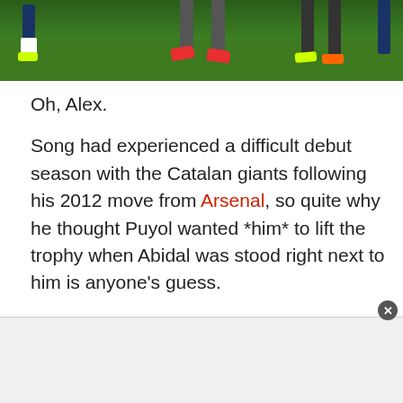[Figure (photo): Photo showing soccer players' legs and feet on a grass field, with red, yellow/green, and orange cleats visible from the knees down.]
Oh, Alex.
Song had experienced a difficult debut season with the Catalan giants following his 2012 move from Arsenal, so quite why he thought Puyol wanted *him* to lift the trophy when Abidal was stood right next to him is anyone's guess.